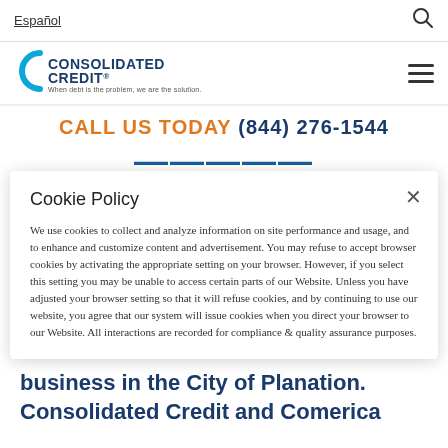Español
[Figure (logo): Consolidated Credit logo with tagline 'When debt is the problem, we are the solution.']
CALL US TODAY  (844) 276-1544
Cookie Policy
We use cookies to collect and analyze information on site performance and usage, and to enhance and customize content and advertisement. You may refuse to accept browser cookies by activating the appropriate setting on your browser. However, if you select this setting you may be unable to access certain parts of our Website. Unless you have adjusted your browser setting so that it will refuse cookies, and by continuing to use our website, you agree that our system will issue cookies when you direct your browser to our Website. All interactions are recorded for compliance & quality assurance purposes.
business in the City of Planation. Consolidated Credit and Comerica Bank plan